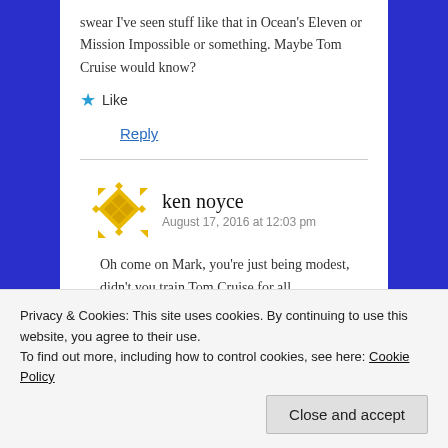swear I've seen stuff like that in Ocean's Eleven or Mission Impossible or something. Maybe Tom Cruise would know?
Like
Reply
ken noyce
August 17, 2016 at 12:03 pm
Oh come on Mark, you're just being modest, didn't you train Tom Cruise for all
Privacy & Cookies: This site uses cookies. By continuing to use this website, you agree to their use.
To find out more, including how to control cookies, see here: Cookie Policy
Close and accept